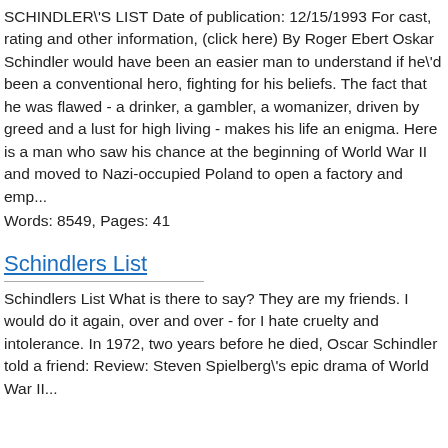SCHINDLER'S LIST Date of publication: 12/15/1993 For cast, rating and other information, (click here) By Roger Ebert Oskar Schindler would have been an easier man to understand if he'd been a conventional hero, fighting for his beliefs. The fact that he was flawed - a drinker, a gambler, a womanizer, driven by greed and a lust for high living - makes his life an enigma. Here is a man who saw his chance at the beginning of World War II and moved to Nazi-occupied Poland to open a factory and emp...
Words: 8549, Pages: 41
Schindlers List
Schindlers List What is there to say? They are my friends. I would do it again, over and over - for I hate cruelty and intolerance. In 1972, two years before he died, Oscar Schindler told a friend: Review: Steven Spielberg's epic drama of World War II...